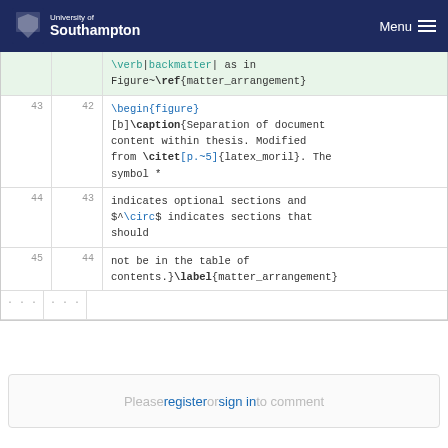University of Southampton — Menu
\verb|backmatter| as in Figure~\ref{matter_arrangement}
43  42  \begin{figure}
[b]\caption{Separation of document content within thesis. Modified from \citet[p.~5]{latex_moril}. The symbol *
44  43  indicates optional sections and $^\circ$ indicates sections that should
45  44  not be in the table of contents.}\label{matter_arrangement}
Please register or sign in to comment